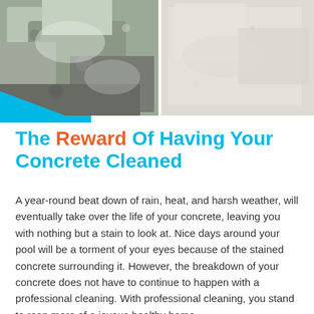[Figure (photo): Before and after photos of concrete cleaning: left side shows stained/dirty concrete, right side shows clean white concrete. A cyan/blue triangle shape decorates the bottom-left corner of the image area.]
The Reward Of Having Your Concrete Cleaned
A year-round beat down of rain, heat, and harsh weather, will eventually take over the life of your concrete, leaving you with nothing but a stain to look at. Nice days around your pool will be a torment of your eyes because of the stained concrete surrounding it. However, the breakdown of your concrete does not have to continue to happen with a professional cleaning. With professional cleaning, you stand to reap more of a joyous healthy home.